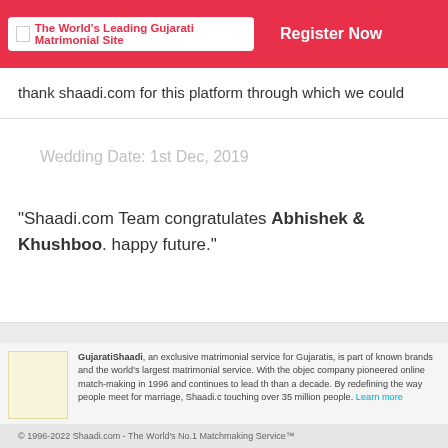The World's Leading Gujarati Matrimonial Site | Register Now | Se
thank shaadi.com for this platform through which we could
Wedding Date: 1st Dec, 2019
"Shaadi.com Team congratulates Abhishek & Khushboo. happy future."
GujaratiShaadi, an exclusive matrimonial service for Gujaratis, is part of known brands and the world's largest matrimonial service. With the objec company pioneered online match-making in 1996 and continues to lead th than a decade. By redefining the way people meet for marriage, Shaadi.c touching over 35 million people. Learn more
India | USA | Canada | UK | Singapore | Australia | NRI Matrimonials
© 1996-2022 Shaadi.com - The World's No.1 Matchmaking Service™